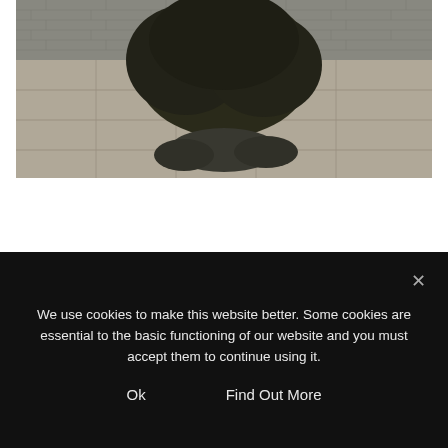[Figure (photo): Black and white photograph of a rounded tree in front of a brick wall, with low shrubs at its base on a paved courtyard surface.]
[Figure (photo): Black and white photograph partially visible, showing trees and foliage, partially obscured by a cookie consent overlay.]
We use cookies to make this website better. Some cookies are essential to the basic functioning of our website and you must accept them to continue using it.
Ok
Find Out More